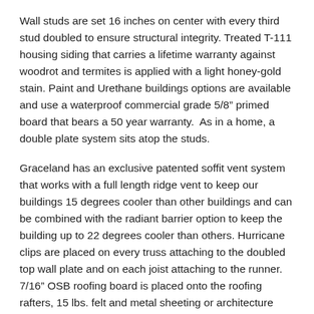Wall studs are set 16 inches on center with every third stud doubled to ensure structural integrity. Treated T-111 housing siding that carries a lifetime warranty against woodrot and termites is applied with a light honey-gold stain. Paint and Urethane buildings options are available and use a waterproof commercial grade 5/8" primed board that bears a 50 year warranty.  As in a home, a double plate system sits atop the studs.
Graceland has an exclusive patented soffit vent system that works with a full length ridge vent to keep our buildings 15 degrees cooler than other buildings and can be combined with the radiant barrier option to keep the building up to 22 degrees cooler than others. Hurricane clips are placed on every truss attaching to the doubled top wall plate and on each joist attaching to the runner.  7/16" OSB roofing board is placed onto the roofing rafters, 15 lbs. felt and metal sheeting or architecture shingles.